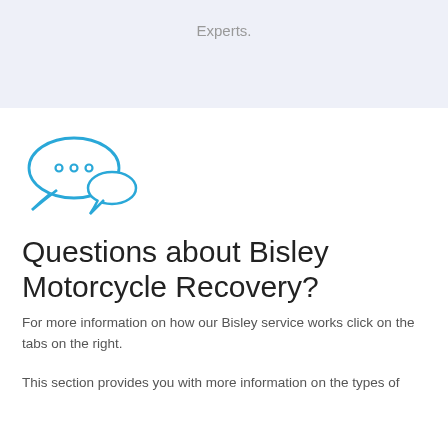Experts.
[Figure (illustration): Two speech/chat bubbles icon in blue outline style, with three dots inside the larger bubble indicating conversation.]
Questions about Bisley Motorcycle Recovery?
For more information on how our Bisley service works click on the tabs on the right.
This section provides you with more information on the types of